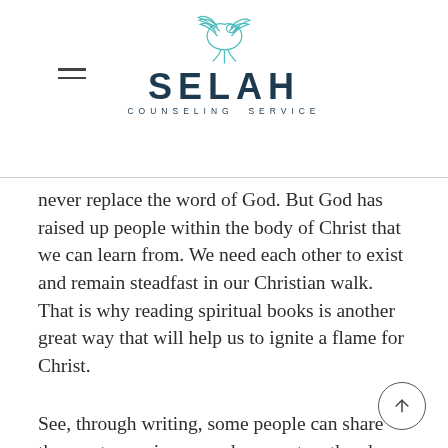SELAH COUNSELING SERVICE
never replace the word of God. But God has raised up people within the body of Christ that we can learn from. We need each other to exist and remain steadfast in our Christian walk. That is why reading spiritual books is another great way that will help us to ignite a flame for Christ.
See, through writing, some people can share the great experiences and encounters they have had with the Lord with the rest of the world. Through reading books and magazines, some of us know about great men and women of God and the great exploits they did for the kingdom. Reading books will help you